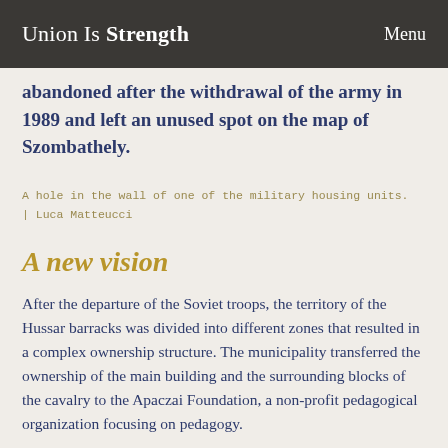Union Is Strength   Menu
abandoned after the withdrawal of the army in 1989 and left an unused spot on the map of Szombathely.
A hole in the wall of one of the military housing units. | Luca Matteucci
A new vision
After the departure of the Soviet troops, the territory of the Hussar barracks was divided into different zones that resulted in a complex ownership structure. The municipality transferred the ownership of the main building and the surrounding blocks of the cavalry to the Apaczai Foundation, a non-profit pedagogical organization focusing on pedagogy.
The foundation, originally created with the objective